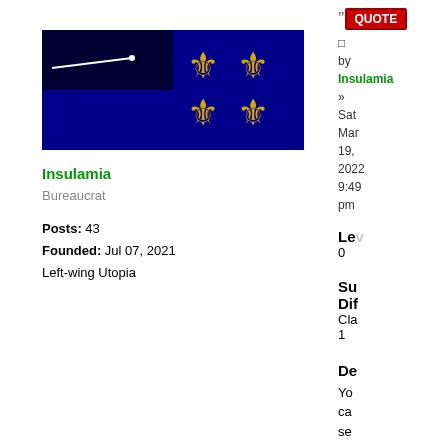[Figure (illustration): User avatar/flag image: blue background with fleur-de-lis symbols in gold and a white comet/streak on the left side]
Insulamia
Bureaucrat
Posts: 43
Founded: Jul 07, 2021
Left-wing Utopia
[Figure (screenshot): QUOTE button in red]
by Insulamia » Sat Mar 19, 2022 9:49 pm
Le
0
Su
Dif
Cla
1
De
Yo
ca
se
an
in
thi
le